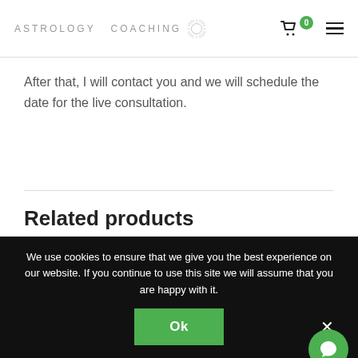ASTROLOGY COACHING
After that, I will contact you and we will schedule the date for the live consultation.
Related products
We use cookies to ensure that we give you the best experience on our website. If you continue to use this site we will assume that you are happy with it.